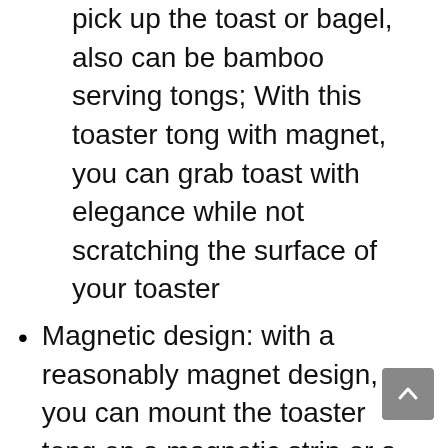pick up the toast or bagel, also can be bamboo serving tongs; With this toaster tong with magnet, you can grab toast with elegance while not scratching the surface of your toaster
Magnetic design: with a reasonably magnet design, you can mount the toaster tong on a magnetic strip or a metallic surface and quickly find it at its designated spot, preventing dropping or falling that could destroy the tongs, also save storage space for you
Apply to: bamboo tongs are portable and clean for serving sweets in the parties, valid substitute for chopstick; Can be widely applied to grab hard to reach goods, practical and nice kitchen utensils